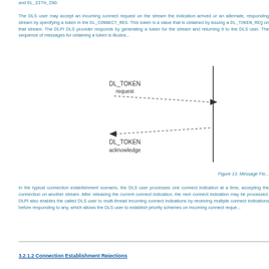The DLS user may accept an incoming connect request on the stream the indication arrived or an alternate, responding stream by specifying a token in the DL_CONNECT_RES. This token is a value that is obtained by issuing a DL_TOKEN_REQ on that stream. The DLPI DLS provider responds by generating a token for the stream and returning it to the DLS user. The sequence of messages for obtaining a token is illustra...
[Figure (flowchart): Message flow diagram showing DL_TOKEN request (dotted arrow going right to a vertical line) and DL_TOKEN acknowledge (dotted arrow going left from the vertical line). Labels: 'DL_TOKEN request' on top, 'DL_TOKEN acknowledge' on bottom.]
Figure 13. Message Flo...
In the typical connection establishment scenario, the DLS user processes one connect indication at a time, accepting the connection on another stream. After releasing the current connect indication, the next connect indication may be processed. DLPI also enables the called DLS user to multi-thread incoming connect indications by receiving multiple connect indications before responding to any, which allows the DLS user to establish priority schemes on incoming connect reque...
3.2.1.2 Connection Establishment Rejections